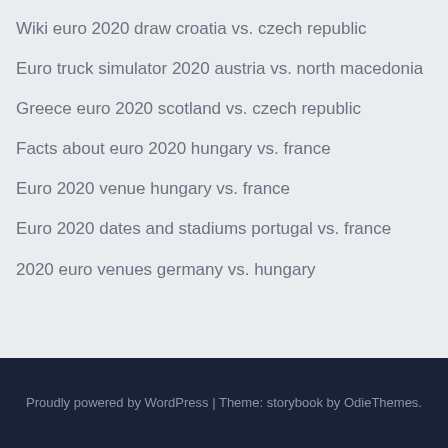Wiki euro 2020 draw croatia vs. czech republic
Euro truck simulator 2020 austria vs. north macedonia
Greece euro 2020 scotland vs. czech republic
Facts about euro 2020 hungary vs. france
Euro 2020 venue hungary vs. france
Euro 2020 dates and stadiums portugal vs. france
2020 euro venues germany vs. hungary
Proudly powered by WordPress | Theme: storybook by OdieThemes.